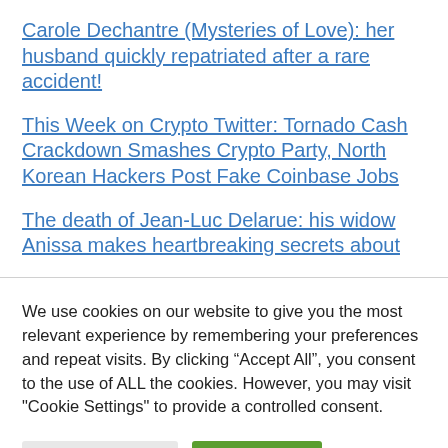Carole Dechantre (Mysteries of Love): her husband quickly repatriated after a rare accident!
This Week on Crypto Twitter: Tornado Cash Crackdown Smashes Crypto Party, North Korean Hackers Post Fake Coinbase Jobs
The death of Jean-Luc Delarue: his widow Anissa makes heartbreaking secrets about
We use cookies on our website to give you the most relevant experience by remembering your preferences and repeat visits. By clicking “Accept All”, you consent to the use of ALL the cookies. However, you may visit "Cookie Settings" to provide a controlled consent.